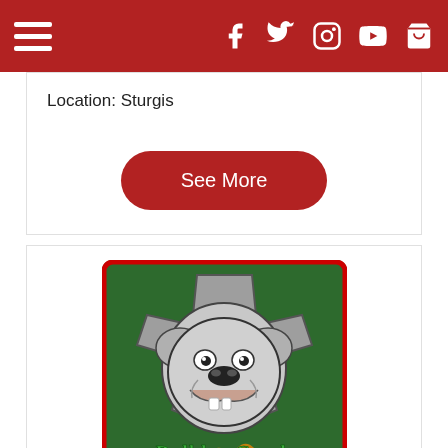Navigation bar with hamburger menu and social icons (Facebook, Twitter, Instagram, YouTube, Cart)
Location: Sturgis
See More
[Figure (logo): Bulldog Creek Campground logo: bulldog face on a grey iron cross shape with green background, text reads 'Bulldog Creek Campground Sturgis SD']
Bulldog Creek Campground